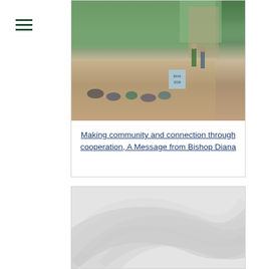[Figure (other): Hamburger menu icon with three horizontal dark green lines]
[Figure (photo): Outdoor photo of a group of people sitting on a parking lot/driveway area, some wearing masks, with trees and a brick building in the background. One person holds a sign reading 'BHS 2029'.]
Making community and connection through cooperation, A Message from Bishop Diana
[Figure (illustration): Decorative gray and white swoosh/wave pattern background image]